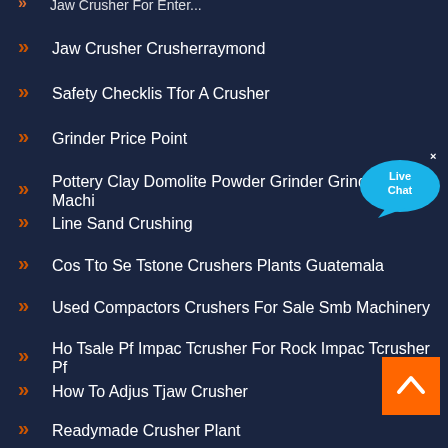Jaw Crusher Crusherraymond
Safety Checklis Tfor A Crusher
Grinder Price Point
Pottery Clay Domolite Powder Grinder Grinding Mill Machi...
Line Sand Crushing
Cos Tto Se Tstone Crushers Plants Guatemala
Used Compactors Crushers For Sale Smb Machinery
Ho Tsale Pf Impac Tcrusher For Rock Impac Tcrusher Pf
How To Adjus Tjaw Crusher
Readymade Crusher Plant